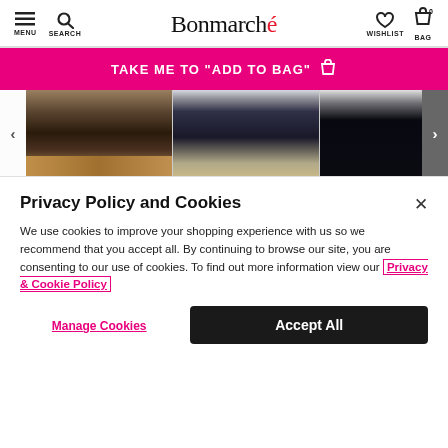Bonmarché — MENU SEARCH WISHLIST BAG 0
[Figure (screenshot): Bonmarché website header with menu, search icons on left, Bonmarché logo in center, wishlist heart icon and bag icon with 0 on right]
[Figure (infographic): Hot pink/magenta promotional banner with white bold text: TAKE ME TO "ADD TO BAG" and a shopping bag icon]
[Figure (photo): Product image carousel showing three images of women's trousers/pants: dark trousers with leopard print shoes, navy straight-leg jeans with sneakers, black straight-leg trousers. Navigation arrows on left and right sides.]
Privacy Policy and Cookies
We use cookies to improve your shopping experience with us so we recommend that you accept all. By continuing to browse our site, you are consenting to our use of cookies. To find out more information view our Privacy & Cookie Policy
Manage Cookies
Accept All